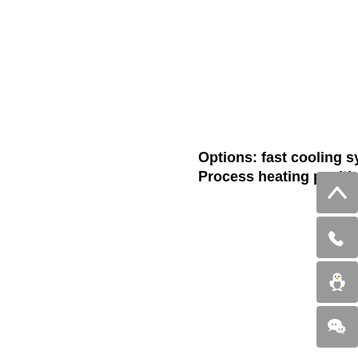Options: fast cooling system
Process heating position: w
[Figure (other): Four gray square icon buttons stacked vertically on the right side: an up-arrow/chevron button, a phone/call button, a QQ penguin icon button, and a WeChat icon button.]